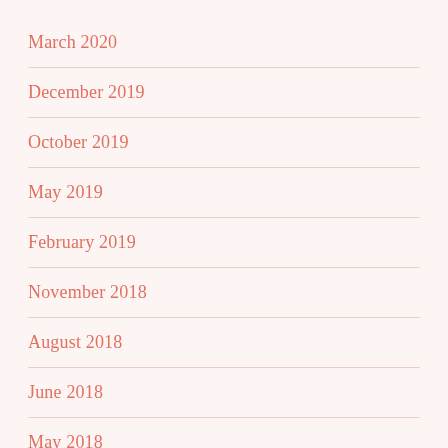March 2020
December 2019
October 2019
May 2019
February 2019
November 2018
August 2018
June 2018
May 2018
March 2018
December 2017